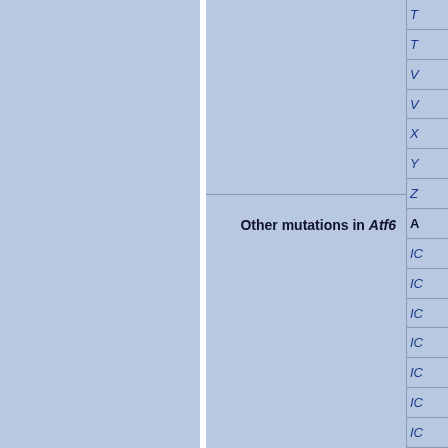|  | Other mutations in Atf6 | A... |
| --- | --- | --- |
|  |  | T... |
|  |  | T... |
|  |  | V... |
|  |  | V... |
|  |  | X... |
|  |  | Y... |
|  |  | Z... |
|  | Other mutations in Atf6 | A... |
|  |  | IC... |
|  |  | IC... |
|  |  | IC... |
|  |  | IC... |
|  |  | IC... |
|  |  | IC... |
|  |  | IC... |